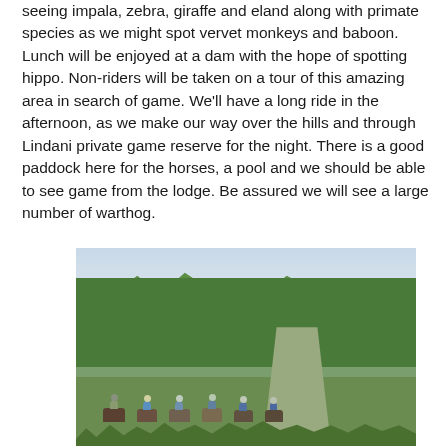seeing impala, zebra, giraffe and eland along with primate species as we might spot vervet monkeys and baboon. Lunch will be enjoyed at a dam with the hope of spotting hippo. Non-riders will be taken on a tour of this amazing area in search of game. We'll have a long ride in the afternoon, as we make our way over the hills and through Lindani private game reserve for the night. There is a good paddock here for the horses, a pool and we should be able to see game from the lodge. Be assured we will see a large number of warthog.
[Figure (photo): A group of horse riders on a trail through lush green African bush landscape with trees and vegetation in the background and a dirt path, viewed from behind.]